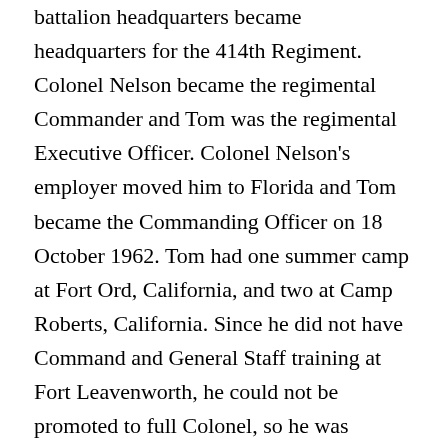battalion headquarters became headquarters for the 414th Regiment. Colonel Nelson became the regimental Commander and Tom was the regimental Executive Officer. Colonel Nelson's employer moved him to Florida and Tom became the Commanding Officer on 18 October 1962. Tom had one summer camp at Fort Ord, California, and two at Camp Roberts, California. Since he did not have Command and General Staff training at Fort Leavenworth, he could not be promoted to full Colonel, so he was relieved of duty in August 1965. In April 1966, Tom was ordered to the 364th Civil Affairs unit in Portland as Commerce and Industry Officer, then became a Property Control Officer. In May 1970, Tom retired and transferred to